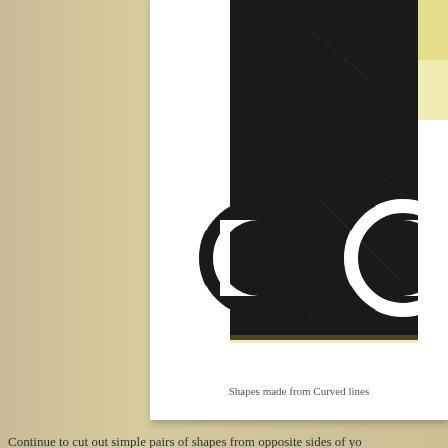[Figure (illustration): Abstract artwork showing shapes made from curved lines — large black rectangular form with two circle/ring shapes partially cut out from opposite sides, on a white background with slight yellow tinting at edges]
Shapes made from Curved lines
Continue to cut out simple pairs of shapes from opposite sides of yo... using the basic types of lines. Do not make your design too complex... Remember that you have to cut out every shape that you draw.